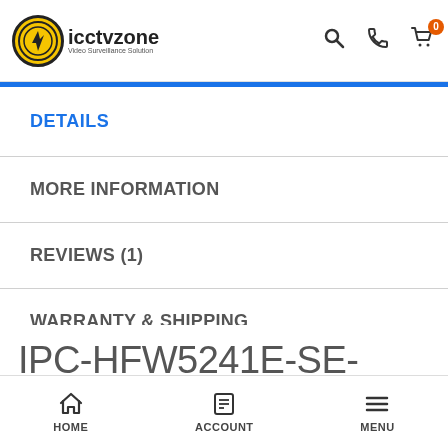[Figure (logo): icctvzone logo — circular yellow/black icon with bird graphic, beside bold text 'icctvzone' and subtitle 'Video Surveillance Solution']
DETAILS
MORE INFORMATION
REVIEWS (1)
WARRANTY & SHIPPING
IPC-HFW5241E-SE-
DAHUA DH-IPC-
HOME    ACCOUNT    MENU